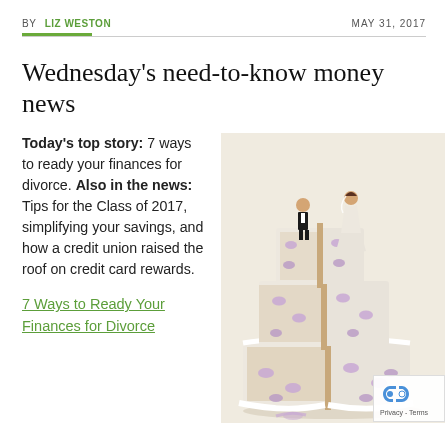BY LIZ WESTON    MAY 31, 2017
Wednesday's need-to-know money news
Today's top story: 7 ways to ready your finances for divorce. Also in the news: Tips for the Class of 2017, simplifying your savings, and how a credit union raised the roof on credit card rewards.
[Figure (photo): A wedding cake split down the middle with bride and groom figurines on separate halves, decorated with purple bows and white frosting]
7 Ways to Ready Your Finances for Divorce